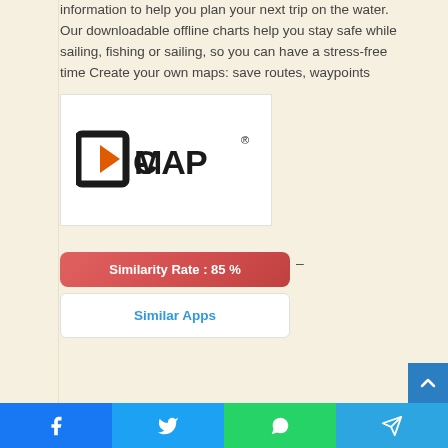information to help you plan your next trip on the water. Our downloadable offline charts help you stay safe while sailing, fishing or sailing, so you can have a stress-free time Create your own maps: save routes, waypoints
[Figure (logo): C-MAP logo — black rectangular icon with orange play-button triangle, followed by bold text C-MAP with registered trademark symbol]
Similarity Rate : 85 % –
Similar Apps
[Figure (infographic): Social media share buttons at the bottom: Facebook (blue), Twitter (light blue), WhatsApp (green), Telegram (blue)]